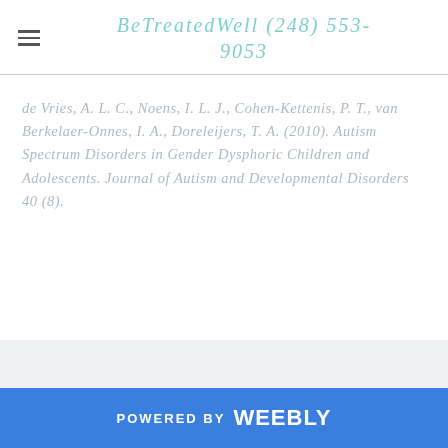BeTreatedWell (248) 553-9053
de Vries, A. L. C.,  Noens, I. L. J.,  Cohen-Kettenis,  P. T.,  van  Berkelaer-Onnes, I.  A.,  Doreleijers, T. A. (2010). Autism Spectrum Disorders in Gender Dysphoric Children and Adolescents. Journal of Autism and Developmental Disorders 40 (8).
POWERED BY weebly